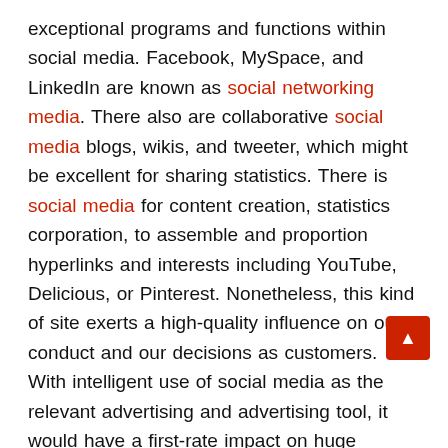exceptional programs and functions within social media. Facebook, MySpace, and LinkedIn are known as social networking media. There also are collaborative social media blogs, wikis, and tweeter, which might be excellent for sharing statistics. There is social media for content creation, statistics corporation, to assemble and proportion hyperlinks and interests including YouTube, Delicious, or Pinterest. Nonetheless, this kind of site exerts a high-quality influence on our conduct and our decisions as customers. With intelligent use of social media as the relevant advertising and advertising tool, it would have a first-rate impact on huge audiences or unique targets as desired. Every internet seeks a cause or quest, and social media may assist in fulfilling the desires of the one via answering those questions, fulfilling the wishes of the one, imparting those hints and alternatives,